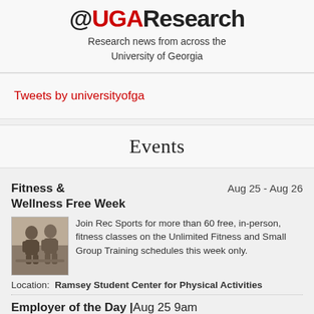@UGAResearch
Research news from across the University of Georgia
Tweets by universityofga
Events
Fitness & Wellness Free Week  Aug 25 - Aug 26
Join Rec Sports for more than 60 free, in-person, fitness classes on the Unlimited Fitness and Small Group Training schedules this week only.
Location:  Ramsey Student Center for Physical Activities
Employer of the Day | Aug 25 9am RSM